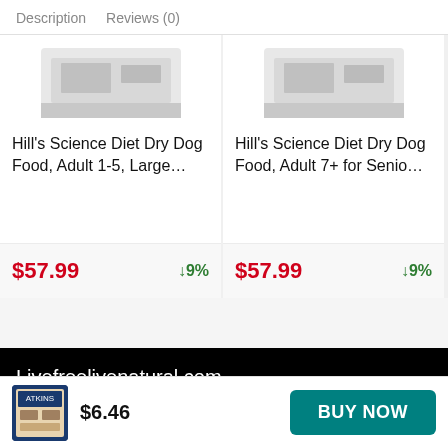Description   Reviews (0)
[Figure (photo): Cropped top of Hill's Science Diet Dry Dog Food product bag, left card]
Hill's Science Diet Dry Dog Food, Adult 1-5, Large…
$57.99   ↓9%
[Figure (photo): Cropped top of Hill's Science Diet Dry Dog Food product bag, right card]
Hill's Science Diet Dry Dog Food, Adult 7+ for Senio…
$57.99   ↓9%
Livefreelivenatural.com
Livefreelivenatural.com participates in the Amazon Services
$6.46
BUY NOW